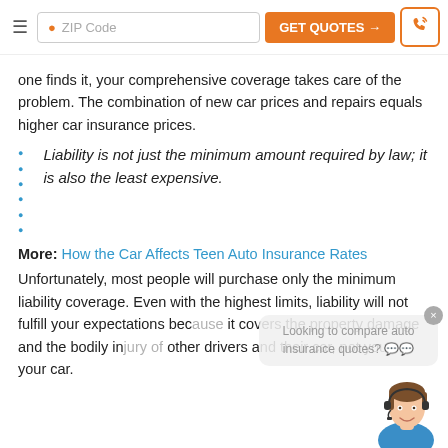ZIP Code | GET QUOTES → | phone
one finds it, your comprehensive coverage takes care of the problem. The combination of new car prices and repairs equals higher car insurance prices.
Liability is not just the minimum amount required by law; it is also the least expensive.
More: How the Car Affects Teen Auto Insurance Rates
Unfortunately, most people will purchase only the minimum liability coverage. Even with the highest limits, liability will not fulfill your expectations because it covers the property damage and the bodily injury of other drivers and their car, not you or your car.